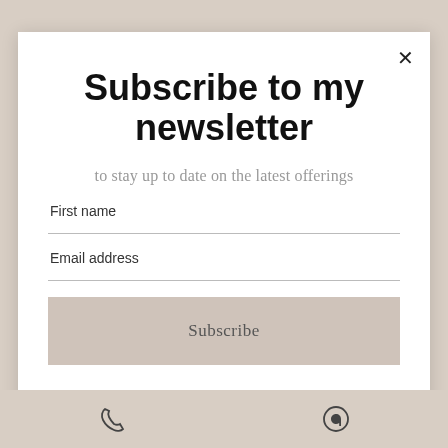Subscribe to my newsletter
to stay up to date on the latest offerings
First name
Email address
Subscribe